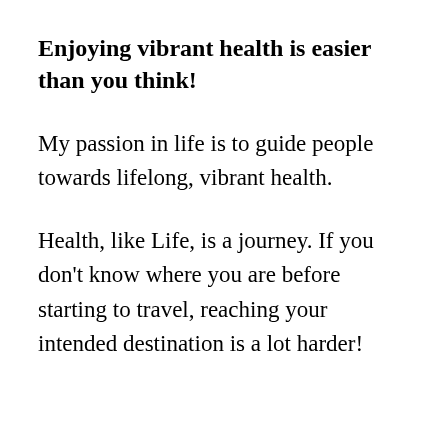Enjoying vibrant health is easier than you think!
My passion in life is to guide people towards lifelong, vibrant health.
Health, like Life, is a journey. If you don't know where you are before starting to travel, reaching your intended destination is a lot harder!